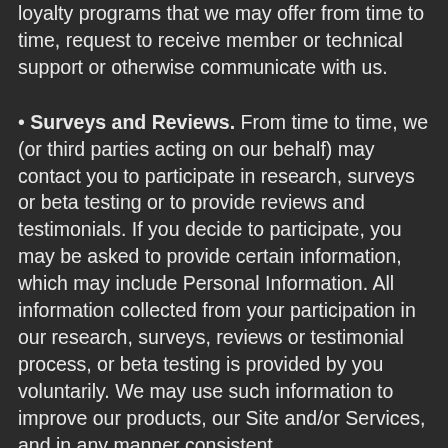loyalty programs that we may offer from time to time, request to receive member or technical support or otherwise communicate with us.
• Surveys and Reviews. From time to time, we (or third parties acting on our behalf) may contact you to participate in research, surveys or beta testing or to provide reviews and testimonials. If you decide to participate, you may be asked to provide certain information, which may include Personal Information. All information collected from your participation in our research, surveys, reviews or testimonial process, or beta testing is provided by you voluntarily. We may use such information to improve our products, our Site and/or Services, and in any manner consistent